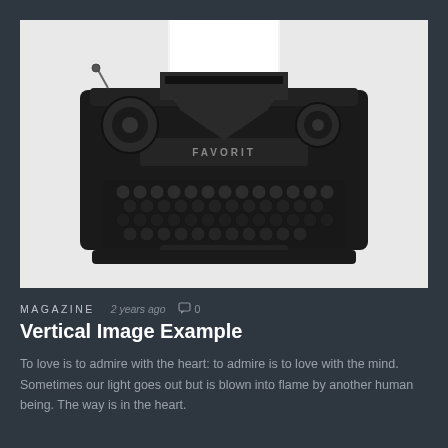[Figure (photo): Overhead view of a vintage black typewriter (FAVORIT brand) with white paper inserted, on a light grey/white background. The keyboard rows are clearly visible.]
MAGAZINE  2 years ago  □ 0
Vertical Image Example
To love is to admire with the heart: to admire is to love with the mind. Sometimes our light goes out but is blown into flame by another human being. The way is in the heart.